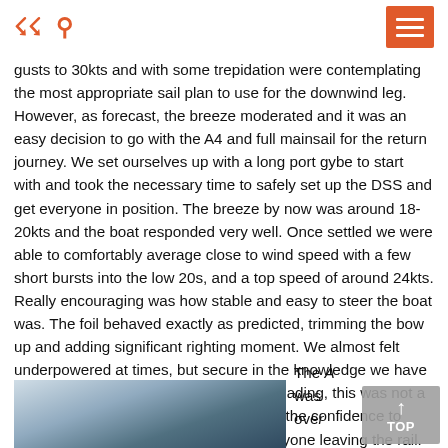shuffle icon, search icon, hamburger menu
gusts to 30kts and with some trepidation were contemplating the most appropriate sail plan to use for the downwind leg. However, as forecast, the breeze moderated and it was an easy decision to go with the A4 and full mainsail for the return journey. We set ourselves up with a long port gybe to start with and took the necessary time to safely set up the DSS and get everyone in position. The breeze by now was around 18-20kts and the boat responded very well. Once settled we were able to comfortably average close to wind speed with a few short bursts into the low 20s, and a top speed of around 24kts. Really encouraging was how stable and easy to steer the boat was. The foil behaved exactly as predicted, trimming the bow up and adding significant righting moment. We almost felt underpowered at times, but secure in the knowledge we have more sail area to add when fully triple heading, this was not a concern. The powered winches gave us the confidence to work the sheets aggressively without anyone leaving the rail. This will be a huge performance boost when racing offshore with reduced crew numbers.
[Figure (photo): Partial photo of a sailing boat, cut off at the bottom of the page]
The A was over